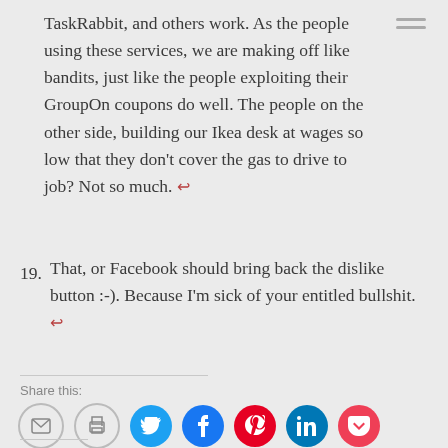TaskRabbit, and others work. As the people using these services, we are making off like bandits, just like the people exploiting their GroupOn coupons do well. The people on the other side, building our Ikea desk at wages so low that they don't cover the gas to drive to job? Not so much. ↩
19. That, or Facebook should bring back the dislike button :-). Because I'm sick of your entitled bullshit. ↩
Share this:
[Figure (other): Social sharing icons: email, print, Twitter, Facebook, Pinterest, LinkedIn, Pocket]